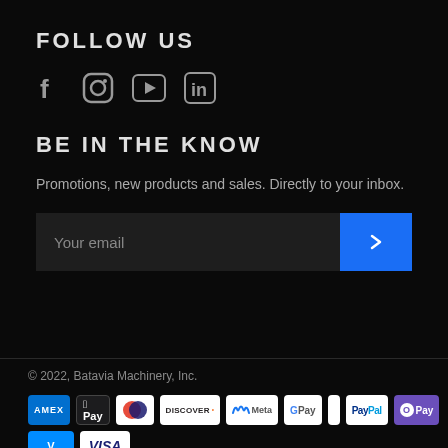FOLLOW US
[Figure (other): Social media icons: Facebook, Instagram, YouTube, LinkedIn]
BE IN THE KNOW
Promotions, new products and sales. Directly to your inbox.
Your email [input field with submit button]
© 2022, Batavia Machinery, Inc.
[Figure (other): Payment method icons: AMEX, Apple Pay, Diners Club, Discover, Meta Pay, Google Pay, Mastercard, PayPal, OPay, Venmo, Visa]